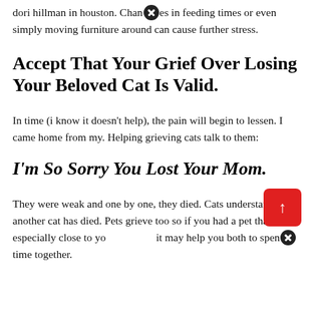dori hillman in houston. Changes in feeding times or even simply moving furniture around can cause further stress.
Accept That Your Grief Over Losing Your Beloved Cat Is Valid.
In time (i know it doesn't help), the pain will begin to lessen. I came home from my. Helping grieving cats talk to them:
I'm So Sorry You Lost Your Mom.
They were weak and one by one, they died. Cats understand when another cat has died. Pets grieve too so if you had a pet that was especially close to you, it may help you both to spend time together.